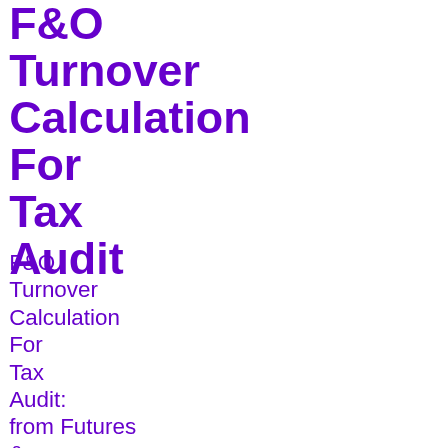F&O Turnover Calculation For Tax Audit
F&O Turnover Calculation For Tax Audit: from Futures &